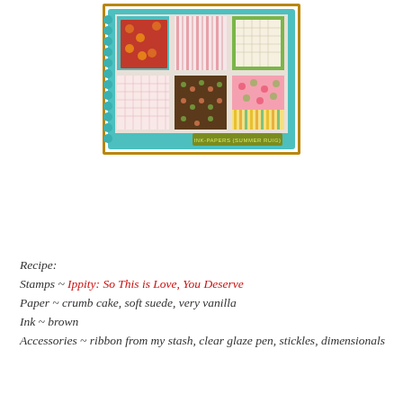[Figure (illustration): A scrapbooking paper pack product image showing six decorative patterned paper sheets arranged in two rows of three inside a teal/green scallop-bordered frame with a gold outer border. Papers include floral, stripe, dot, grid, and garden patterns in colors of teal, pink, green, brown, and cream. A label reads 'INK-PAPERS {SUMMER RUIG}' at the bottom right.]
Recipe:
Stamps ~ Ippity: So This is Love, You Deserve
Paper ~ crumb cake, soft suede, very vanilla
Ink ~ brown
Accessories ~ ribbon from my stash, clear glaze pen, stickles, dimensionals